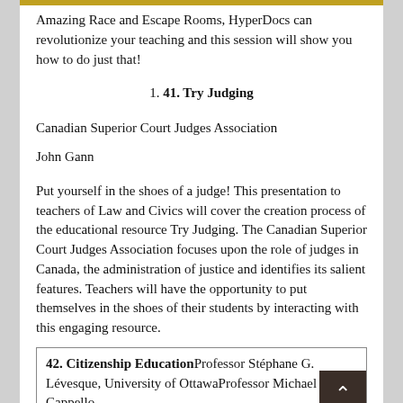Amazing Race and Escape Rooms, HyperDocs can revolutionize your teaching and this session will show you how to do just that!
1. 41. Try Judging
Canadian Superior Court Judges Association
John Gann
Put yourself in the shoes of a judge! This presentation to teachers of Law and Civics will cover the creation process of the educational resource Try Judging. The Canadian Superior Court Judges Association focuses upon the role of judges in Canada, the administration of justice and identifies its salient features. Teachers will have the opportunity to put themselves in the shoes of their students by interacting with this engaging resource.
42. Citizenship EducationProfessor Stéphane G. Lévesque, University of OttawaProfessor Michael Cappello